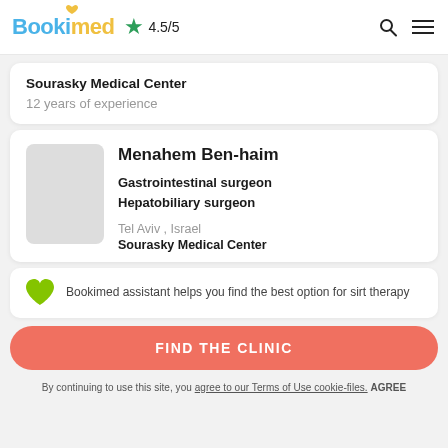Bookimed ★ 4.5/5
Sourasky Medical Center
12 years of experience
Menahem Ben-haim
Gastrointestinal surgeon
Hepatobiliary surgeon
Tel Aviv , Israel
Sourasky Medical Center
Bookimed assistant helps you find the best option for sirt therapy
FIND THE CLINIC
By continuing to use this site, you agree to our Terms of Use cookie-files. AGREE